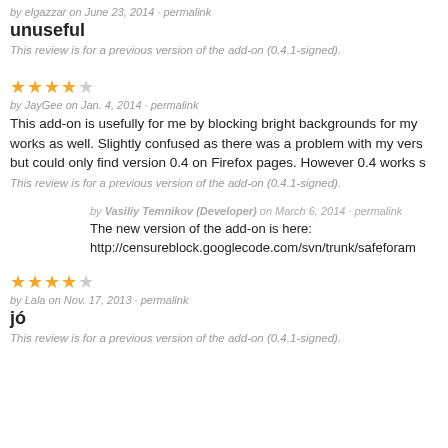by elgazzar on June 23, 2014 · permalink
unuseful
This review is for a previous version of the add-on (0.4.1-signed).
[Figure (other): 4 stars out of 5 star rating]
by JayGee on Jan. 4, 2014 · permalink
This add-on is usefully for me by blocking bright backgrounds for my works as well. Slightly confused as there was a problem with my vers but could only find version 0.4 on Firefox pages. However 0.4 works s
This review is for a previous version of the add-on (0.4.1-signed).
by Vasiliy Temnikov (Developer) on March 6, 2014 · permalink
The new version of the add-on is here: http://censureblock.googlecode.com/svn/trunk/safeforam
[Figure (other): 4 stars out of 5 star rating]
by Lala on Nov. 17, 2013 · permalink
jó
This review is for a previous version of the add-on (0.4.1-signed).